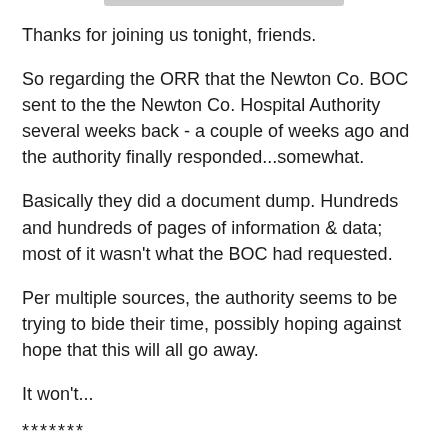Thanks for joining us tonight, friends.
So regarding the ORR that the Newton Co. BOC sent to the the Newton Co. Hospital Authority several weeks back - a couple of weeks ago and the authority finally responded...somewhat.
Basically they did a document dump. Hundreds and hundreds of pages of information & data; most of it wasn't what the BOC had requested.
Per multiple sources, the authority seems to be trying to bide their time, possibly hoping against hope that this will all go away.
It won't...
*******
Did...